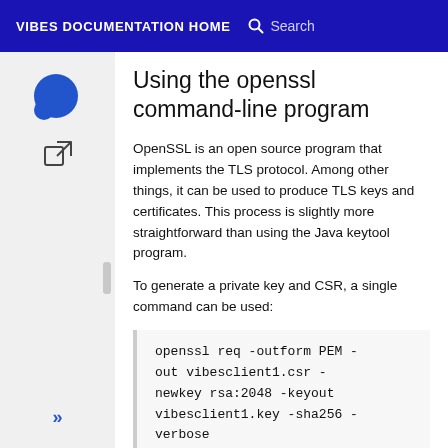VIBES DOCUMENTATION HOME  Search
Using the openssl command-line program
OpenSSL is an open source program that implements the TLS protocol. Among other things, it can be used to produce TLS keys and certificates. This process is slightly more straightforward than using the Java keytool program.
To generate a private key and CSR, a single command can be used:
openssl req -outform PEM -out vibesclient1.csr -newkey rsa:2048 -keyout vibesclient1.key -sha256 -verbose